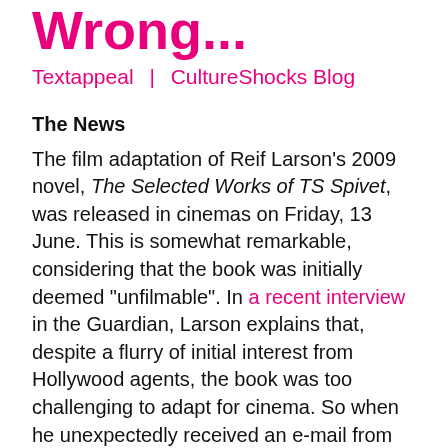Wrong...
Textappeal  |  CultureShocks Blog
The News
The film adaptation of Reif Larson's 2009 novel, The Selected Works of TS Spivet, was released in cinemas on Friday, 13 June. This is somewhat remarkable, considering that the book was initially deemed “unfilmable”. In a recent interview in the Guardian, Larson explains that, despite a flurry of initial interest from Hollywood agents, the book was too challenging to adapt for cinema. So when he unexpectedly received an e-mail from the